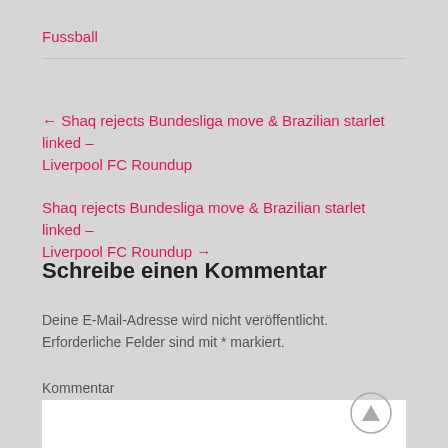Fussball
← Shaq rejects Bundesliga move & Brazilian starlet linked – Liverpool FC Roundup
Shaq rejects Bundesliga move & Brazilian starlet linked – Liverpool FC Roundup →
Schreibe einen Kommentar
Deine E-Mail-Adresse wird nicht veröffentlicht. Erforderliche Felder sind mit * markiert.
Kommentar